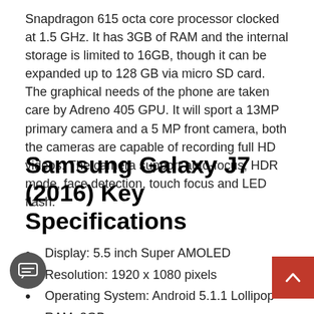Snapdragon 615 octa core processor clocked at 1.5 GHz. It has 3GB of RAM and the internal storage is limited to 16GB, though it can be expanded up to 128 GB via micro SD card. The graphical needs of the phone are taken care by Adreno 405 GPU. It will sport a 13MP primary camera and a 5 MP front camera, both the cameras are capable of recording full HD videos. The camera support auto-focus, HDR mode, face detection, touch focus and LED flash.
Samsung Galaxy J7 (2016) Key Specifications
Display: 5.5 inch Super AMOLED
Resolution: 1920 x 1080 pixels
Operating System: Android 5.1.1 Lollipop
RAM: 3GB
Processor: Qualcomm Snapdragon 615 Octa-core 1.5 GHz